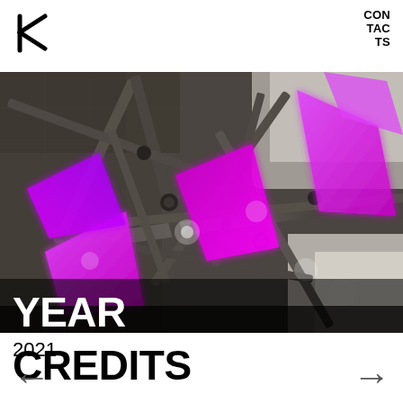CON TAC TS
[Figure (photo): Upward-looking photo of an abstract ceiling installation with metal framework and glowing magenta/pink triangular panels, taken in what appears to be a modern building interior.]
YEAR
2021
CREDITS
← →